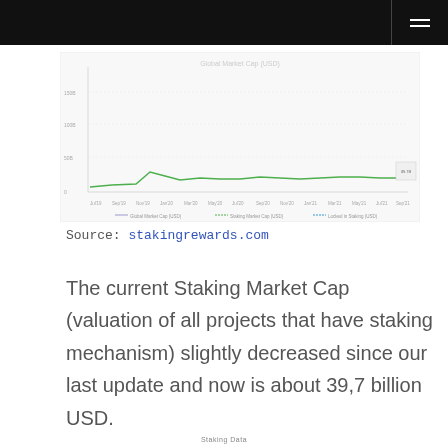[Figure (line-chart): Line chart showing Global Market Cap (USD), Staking Market Cap (USD), and Locked in Staking (USD) over time. The chart has a green line showing staking-related values with slight fluctuations, generally flat with a small peak, against a white background with faint grid lines. X-axis shows date labels, y-axis shows USD values. Legend at bottom: Global Market Cap (USD), Staking Market Cap (USD), Locked in Staking (USD).]
Source: stakingrewards.com
The current Staking Market Cap (valuation of all projects that have staking mechanism) slightly decreased since our last update and now is about 39,7 billion USD.
Staking Data